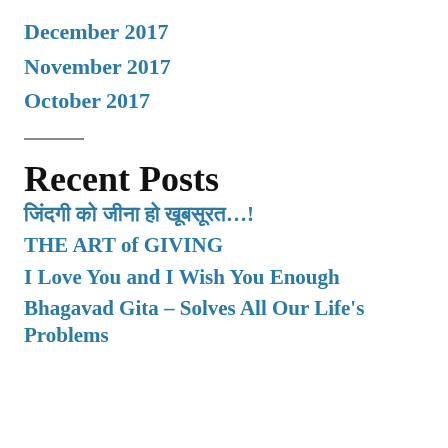December 2017
November 2017
October 2017
Recent Posts
जिंदगी को जीना हो खूबसूरत…!
THE ART of GIVING
I Love You and I Wish You Enough
Bhagavad Gita – Solves All Our Life's Problems